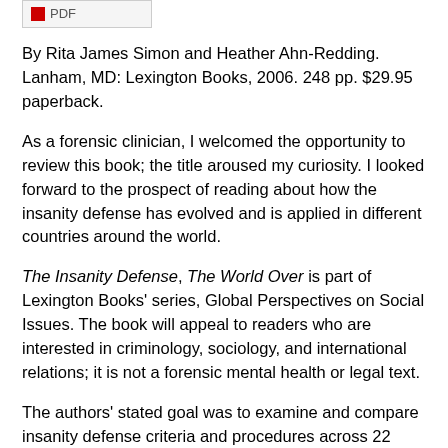[Figure (other): PDF icon/button box in top-left corner]
By Rita James Simon and Heather Ahn-Redding. Lanham, MD: Lexington Books, 2006. 248 pp. $29.95 paperback.
As a forensic clinician, I welcomed the opportunity to review this book; the title aroused my curiosity. I looked forward to the prospect of reading about how the insanity defense has evolved and is applied in different countries around the world.
The Insanity Defense, The World Over is part of Lexington Books' series, Global Perspectives on Social Issues. The book will appeal to readers who are interested in criminology, sociology, and international relations; it is not a forensic mental health or legal text.
The authors' stated goal was to examine and compare insanity defense criteria and procedures across 22 countries. The countries are divided into eight geographic regions: North America (Canada and the United States), South America (Argentina and Brazil),